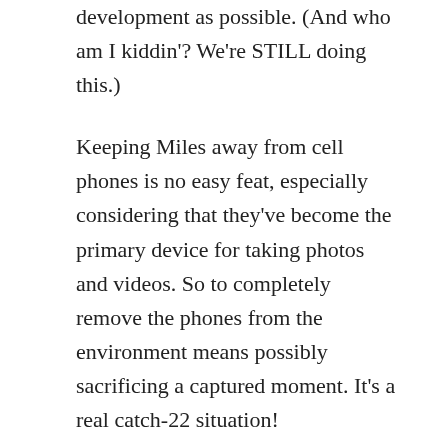development as possible. (And who am I kiddin'? We're STILL doing this.)
Keeping Miles away from cell phones is no easy feat, especially considering that they've become the primary device for taking photos and videos. So to completely remove the phones from the environment means possibly sacrificing a captured moment. It's a real catch-22 situation!
But then, the real problem isn't the technology itself so much as our conduct with it. taking pictures is one thing — often, I'll show the picture to Miles on the phone's screen once I've taken it, letting him see himself in a way similar to letting him look into a mirror. What I try my damnedest not to do? Sit next to him mindlessly